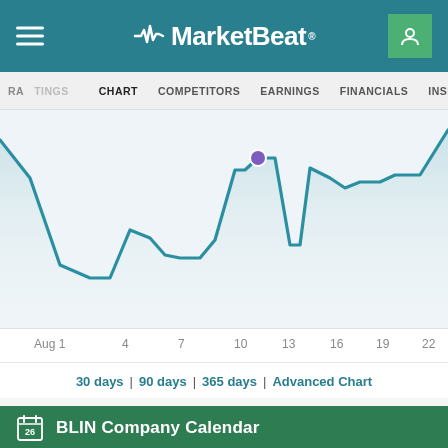MarketBeat
RATINGS CHART COMPETITORS EARNINGS FINANCIALS INSIDER TRADES
[Figure (line-chart): Line chart showing BLIN stock price from Aug 1 to Aug 22, with a highlighted point on Aug 13. The price starts high, drops to a low around Aug 2-3, rises to a local peak around Aug 4, dips, then surges to a sharp peak on Aug 13 (marked with a purple dot), drops, then recovers and rises toward Aug 22.]
30 days | 90 days | 365 days | Advanced Chart
BLIN Company Calendar
Last Earnings  8/11/2022